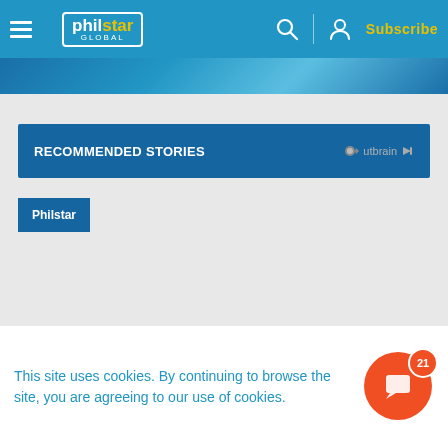philstar GLOBAL — Subscribe
RECOMMENDED STORIES
Philstar
Advertisement
This site uses cookies. By continuing to browse the site, you are agreeing to our use of cookies.